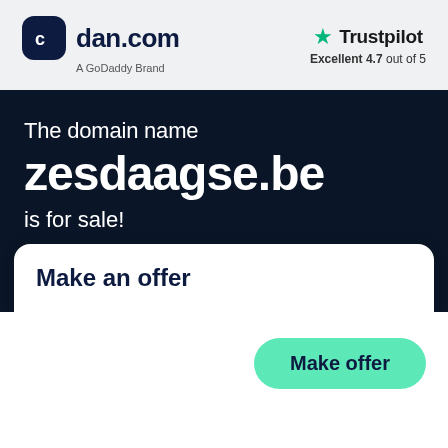[Figure (logo): dan.com logo with dark navy rounded square icon containing stylized 'c' letter, followed by 'dan.com' text, and 'A GoDaddy Brand' subtitle]
[Figure (logo): Trustpilot logo with green star and 'Trustpilot' text, rating 'Excellent 4.7 out of 5']
The domain name
zesdaagse.be
is for sale!
Make an offer
Make offer